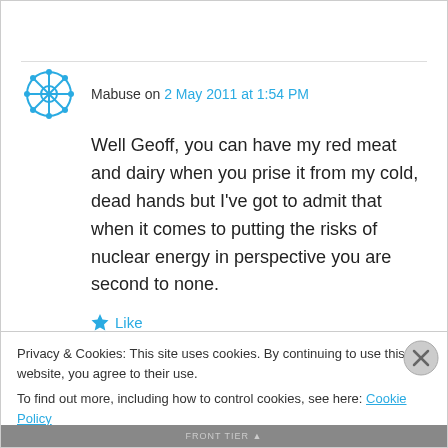Mabuse on 2 May 2011 at 1:54 PM
Well Geoff, you can have my red meat and dairy when you prise it from my cold, dead hands but I've got to admit that when it comes to putting the risks of nuclear energy in perspective you are second to none.
Like
Reply
Privacy & Cookies: This site uses cookies. By continuing to use this website, you agree to their use. To find out more, including how to control cookies, see here: Cookie Policy
Close and accept